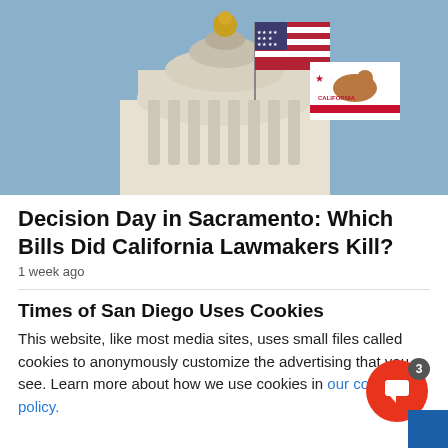[Figure (photo): Photo of a government building dome/capitol with an American flag and California state flag flying against a blue sky]
Decision Day in Sacramento: Which Bills Did California Lawmakers Kill?
1 week ago
Times of San Diego Uses Cookies
This website, like most media sites, uses small files called cookies to anonymously customize the advertising that you see. Learn more about how we use cookies in our cookie policy.